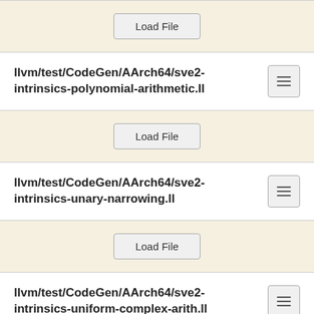[Figure (screenshot): Load File button in a beige/cream background row]
llvm/test/CodeGen/AArch64/sve2-intrinsics-polynomial-arithmetic.ll
[Figure (screenshot): Load File button in a beige/cream background row]
llvm/test/CodeGen/AArch64/sve2-intrinsics-unary-narrowing.ll
[Figure (screenshot): Load File button in a beige/cream background row]
llvm/test/CodeGen/AArch64/sve2-intrinsics-uniform-complex-arith.ll
[Figure (screenshot): Load File button in a beige/cream background row]